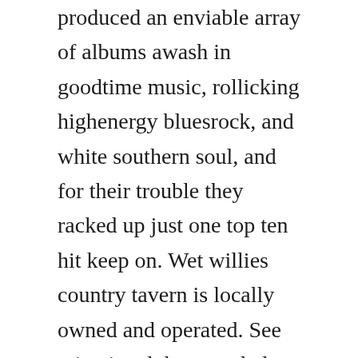produced an enviable array of albums awash in goodtime music, rollicking highenergy bluesrock, and white southern soul, and for their trouble they racked up just one top ten hit keep on. Wet willies country tavern is locally owned and operated. See miami and the everglades on a tour that lets you experience many of southern floridas top sites in one day. This site is presented under the rights of the first amendment. Tasty and reasonably priced great on a hot day since you can drink outside.

Despite dozens of different…